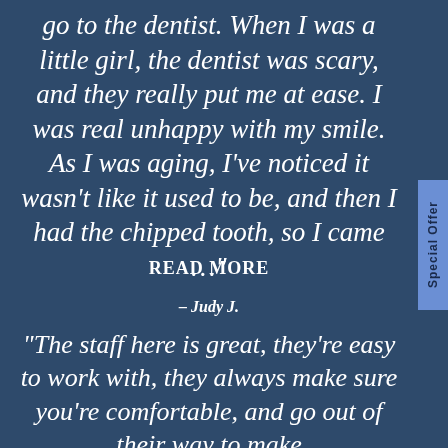go to the dentist. When I was a little girl, the dentist was scary, and they really put me at ease. I was real unhappy with my smile. As I was aging, I've noticed it wasn't like it used to be, and then I had the chipped tooth, so I came …"
READ MORE
– Judy J.
“The staff here is great, they’re easy to work with, they always make sure you’re comfortable, and go out of their way to make
[Figure (other): Blue vertical sidebar tab with text 'Special Offer' rotated vertically]